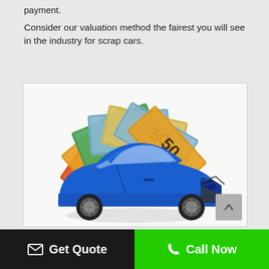payment.
Consider our valuation method the fairest you will see in the industry for scrap cars.
[Figure (photo): A wrecked blue car with front-end damage surrounded by a fan of Australian $50 banknotes spread behind it, on a white background.]
✉ Get Quote   📞 Call Now